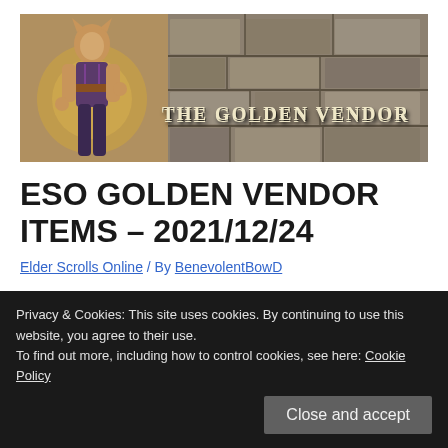[Figure (illustration): The Golden Vendor banner image showing a female Khajiit character in a fantasy setting with stone ruins, with text 'THE GOLDEN VENDOR' overlaid on the right side]
ESO GOLDEN VENDOR ITEMS – 2021/12/24
Elder Scrolls Online / By BenevolentBowD
What does the Golden Vendor offer this week?
Privacy & Cookies: This site uses cookies. By continuing to use this website, you agree to their use.
To find out more, including how to control cookies, see here: Cookie Policy
Close and accept